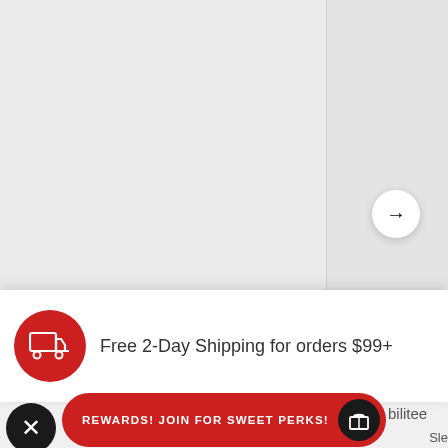[Figure (screenshot): Product image area showing a gray background with navigation arrow button and Size Chart tab on the right side]
Free 2-Day Shipping for orders $99+
Flexibilitee
REWARDS! JOIN FOR SWEET PERKS!
Flexibilitee
Sle
Sle